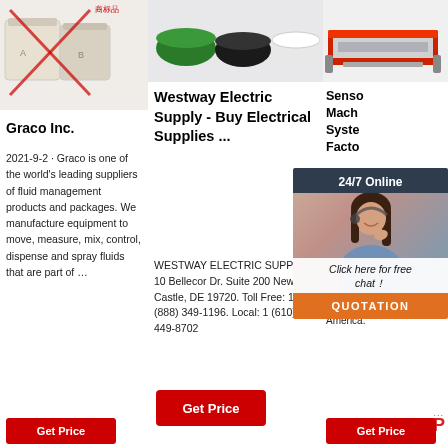[Figure (photo): Product image top left - white containers/buckets with red cross mark]
[Figure (photo): Product image top center - colorful round containers/tins]
[Figure (photo): Product image top right - industrial machine/equipment in red and silver]
Graco Inc.
2021-9-2 · Graco is one of the world's leading suppliers of fluid management products and packages. We manufacture equipment to move, measure, mix, control, dispense and spray fluids that are part of …
Westway Electric Supply - Buy Electrical Supplies ...
WESTWAY ELECTRIC SUPPLY. 10 Bellecor Dr. Suite 200 New Castle, DE 19720. Toll Free: 1 (888) 349-1196. Local: 1 (610) 449-8702
[Figure (photo): Customer service representative chat widget with 24/7 Online header and photo of woman with headset]
Sensor Machine System Factory
Sensor vision measuring instruments, readers, PLCs and other factory automation sensor products. KEYENCE America.